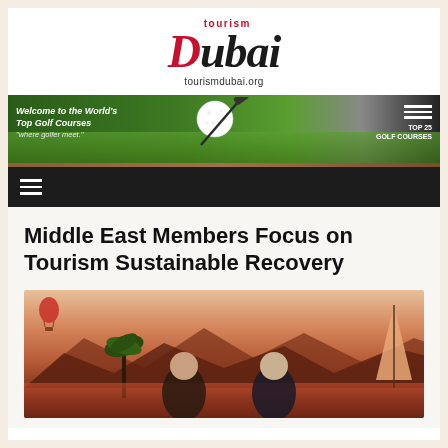[Figure (logo): Tourism Dubai logo with red 'D' initial and 'ubai' in dark text, 'tourism' in red above, and 'tourismdubai.org' URL below]
[Figure (photo): Banner advertisement for Top 25 Golf Courses: Welcome to the World's Top Golf Courses - where golfer meet. Shows golf ball and club on green grass with logo in top right.]
[Figure (infographic): Dark navigation bar with hamburger menu icon (three horizontal lines)]
Middle East Members Focus on Tourism Sustainable Recovery
[Figure (photo): Photo of two men standing in front of a scenic backdrop with palm trees, water, hot air balloon and a dhow sail, sunset colors.]